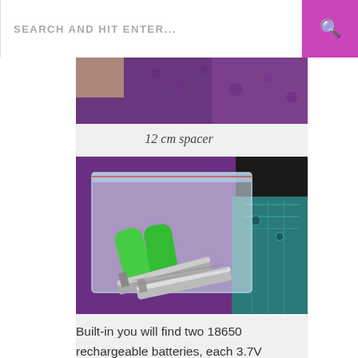SEARCH AND HIT ENTER...
[Figure (photo): Partial view of items on a purple knitted background, top portion of image cropped]
12 cm spacer
[Figure (photo): A clear ziplock bag containing green plastic spacers/anchors and metal screws, placed on a purple carpet with a circuit board visible in the background]
Built-in you will find two 18650 rechargeable batteries, each 3.7V 4000mah, which power the unit with a total of 4 watts. The batteries